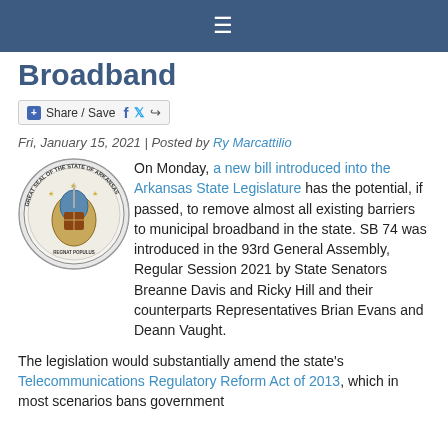≡
Broadband
Share / Save
Fri, January 15, 2021 | Posted by Ry Marcattilio
[Figure (illustration): Great Seal of the State of Arkansas — circular seal with state imagery]
On Monday, a new bill introduced into the Arkansas State Legislature has the potential, if passed, to remove almost all existing barriers to municipal broadband in the state. SB 74 was introduced in the 93rd General Assembly, Regular Session 2021 by State Senators Breanne Davis and Ricky Hill and their counterparts Representatives Brian Evans and Deann Vaught.
The legislation would substantially amend the state's Telecommunications Regulatory Reform Act of 2013, which in most scenarios bans government